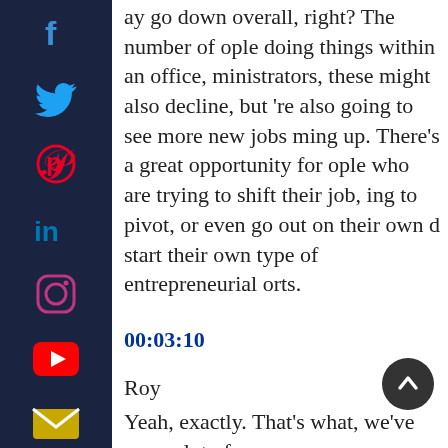ight. The number of receptionists we need may go down overall, right? The number of people doing things within an office, administrators, these might also decline, but we're also going to see more new jobs coming up. There's a great opportunity for people who are trying to shift their job, trying to pivot, or even go out on their own and start their own type of entrepreneurial efforts.
00:03:10
Roy
Yeah, exactly. That's what, we've seen a lot of